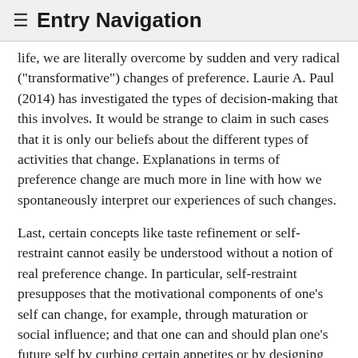≡ Entry Navigation
life, we are literally overcome by sudden and very radical ("transformative") changes of preference. Laurie A. Paul (2014) has investigated the types of decision-making that this involves. It would be strange to claim in such cases that it is only our beliefs about the different types of activities that change. Explanations in terms of preference change are much more in line with how we spontaneously interpret our experiences of such changes.
Last, certain concepts like taste refinement or self-restraint cannot easily be understood without a notion of real preference change. In particular, self-restraint presupposes that the motivational components of one's self can change, for example, through maturation or social influence; and that one can and should plan one's future self by curbing certain appetites or by designing the environment in ways that affect one's preferences.
7.2 Time preferences
The value that we assign to obtaining an advantage or